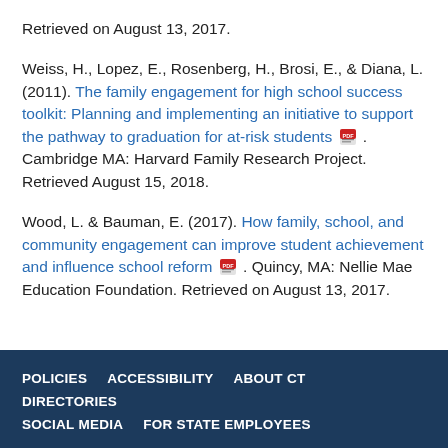Retrieved on August 13, 2017.
Weiss, H., Lopez, E., Rosenberg, H., Brosi, E., & Diana, L. (2011). The family engagement for high school success toolkit: Planning and implementing an initiative to support the pathway to graduation for at-risk students [PDF]. Cambridge MA: Harvard Family Research Project. Retrieved August 15, 2018.
Wood, L. & Bauman, E. (2017). How family, school, and community engagement can improve student achievement and influence school reform [PDF]. Quincy, MA: Nellie Mae Education Foundation. Retrieved on August 13, 2017.
POLICIES   ACCESSIBILITY   ABOUT CT   DIRECTORIES   SOCIAL MEDIA   FOR STATE EMPLOYEES